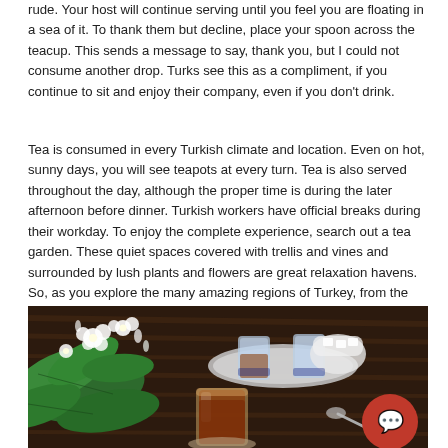rude. Your host will continue serving until you feel you are floating in a sea of it. To thank them but decline, place your spoon across the teacup. This sends a message to say, thank you, but I could not consume another drop. Turks see this as a compliment, if you continue to sit and enjoy their company, even if you don't drink.
Tea is consumed in every Turkish climate and location. Even on hot, sunny days, you will see teapots at every turn. Tea is also served throughout the day, although the proper time is during the later afternoon before dinner. Turkish workers have official breaks during their workday. To enjoy the complete experience, search out a tea garden. These quiet spaces covered with trellis and vines and surrounded by lush plants and flowers are great relaxation havens. So, as you explore the many amazing regions of Turkey, from the beaches to Istanbul, be sure to stop along the way, slow down and enjoy the Turkish tea experience with all its traditions.
[Figure (photo): Photo of Turkish tea setup on a wooden table: jasmine flowers and green leaves on the left, a glass of dark tea in the center-front, a silver tray with tea glasses and sugar cubes in the background, and a red circular chat/phone button in the bottom right corner.]